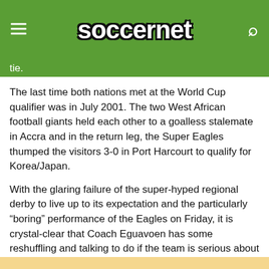soccernet
tie.
The last time both nations met at the World Cup qualifier was in July 2001. The two West African football giants held each other to a goalless stalemate in Accra and in the return leg, the Super Eagles thumped the visitors 3-0 in Port Harcourt to qualify for Korea/Japan.
With the glaring failure of the super-hyped regional derby to live up to its expectation and the particularly “boring” performance of the Eagles on Friday, it is crystal-clear that Coach Eguavoen has some reshuffling and talking to do if the team is serious about beating the Ghanaians who started out strong, had more possession and chances but failed to convert them to goals.